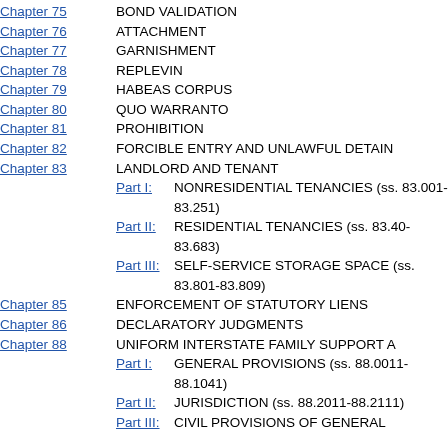Chapter 75 — BOND VALIDATION
Chapter 76 — ATTACHMENT
Chapter 77 — GARNISHMENT
Chapter 78 — REPLEVIN
Chapter 79 — HABEAS CORPUS
Chapter 80 — QUO WARRANTO
Chapter 81 — PROHIBITION
Chapter 82 — FORCIBLE ENTRY AND UNLAWFUL DETAIN
Chapter 83 — LANDLORD AND TENANT; Part I: NONRESIDENTIAL TENANCIES (ss. 83.001-83.251); Part II: RESIDENTIAL TENANCIES (ss. 83.40-83.683); Part III: SELF-SERVICE STORAGE SPACE (ss. 83.801-83.809)
Chapter 85 — ENFORCEMENT OF STATUTORY LIENS
Chapter 86 — DECLARATORY JUDGMENTS
Chapter 88 — UNIFORM INTERSTATE FAMILY SUPPORT A; Part I: GENERAL PROVISIONS (ss. 88.0011-88.1041); Part II: JURISDICTION (ss. 88.2011-88.2111); Part III: CIVIL PROVISIONS OF GENERAL